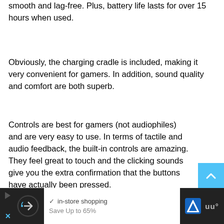smooth and lag-free. Plus, battery life lasts for over 15 hours when used.
Obviously, the charging cradle is included, making it very convenient for gamers. In addition, sound quality and comfort are both superb.
Controls are best for gamers (not audiophiles) and are very easy to use. In terms of tactile and audio feedback, the built-in controls are amazing. They feel great to touch and the clicking sounds give you the extra confirmation that the buttons have actually been pressed.
Comfortable to wear, the ASTRO A50 has deep ear cups, but are great for different head sizes and shapes. They're quite big, but don't clamp tightly, giving you a comfortable exp...